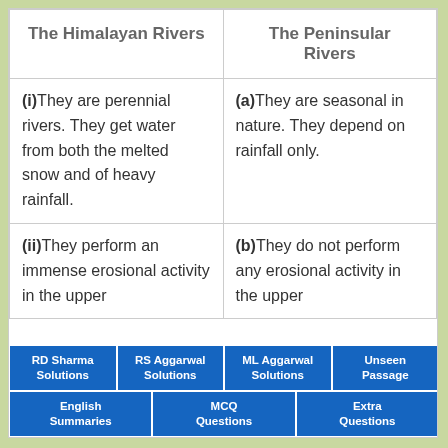| The Himalayan Rivers | The Peninsular Rivers |
| --- | --- |
| (i)They are perennial rivers. They get water from both the melted snow and of heavy rainfall. | (a)They are seasonal in nature. They depend on rainfall only. |
| (ii)They perform an immense erosional activity in the upper | (b)They do not perform any erosional activity in the upper |